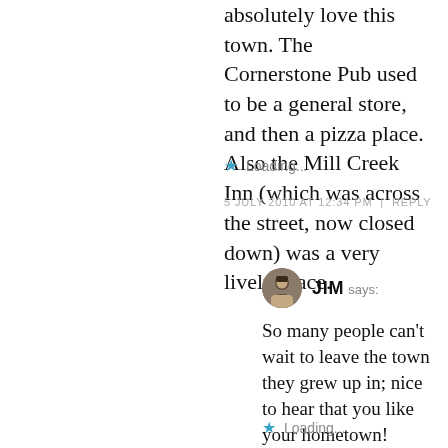absolutely love this town. The Cornerstone Pub used to be a general store, and then a pizza place. Also the Mill Creek Inn (which was across the street, now closed down) was a very lively place.
Loading...
5 JULY 2010 AT 12:34 PM | REPLY
JIM says:
So many people can't wait to leave the town they grew up in; nice to hear that you like your hometown!
Loading...